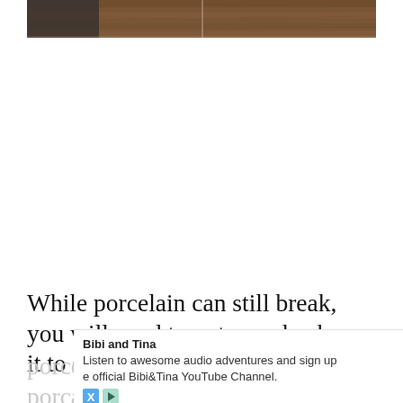[Figure (photo): Bottom portion of a bathroom/floor photo showing brown wood-look porcelain tile flooring with grout lines visible, and what appears to be the base of a dark cabinet or vanity on the left side.]
While porcelain can still break, you will need to put your back on it to shatter a porcelain tile. With porcelain, porcelain
[Figure (other): Advertisement overlay: Bibi and Tina - Listen to awesome audio adventures and sign up e official Bibi&Tina YouTube Channel. With X and play button icons.]